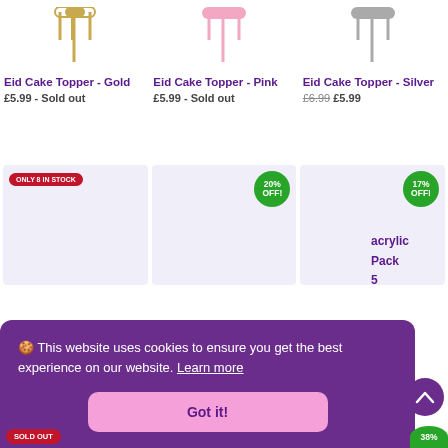[Figure (photo): Gold Eid Cake Topper product image]
Eid Cake Topper - Gold
£5.99 - Sold out
[Figure (photo): Pink Eid Cake Topper product image]
Eid Cake Topper - Pink
£5.99 - Sold out
[Figure (photo): Silver Eid Cake Topper product image]
Eid Cake Topper - Silver
£6.99 £5.99
[Figure (photo): Product card with ONLY 8 IN STOCK badge]
[Figure (photo): Product card with 20% OFF badge]
[Figure (photo): Product card with 17% OFF badge]
🍪 This website uses cookies to ensure you get the best experience on our website. Learn more
Got it!
acrylic Pack 5